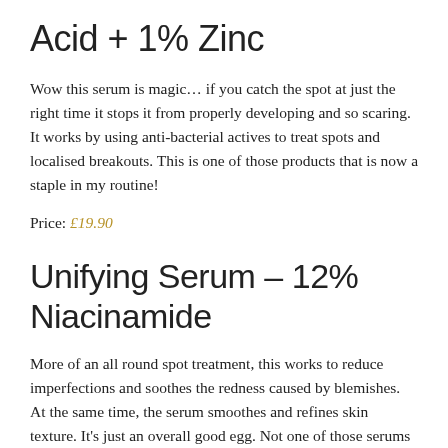Acid + 1% Zinc
Wow this serum is magic… if you catch the spot at just the right time it stops it from properly developing and so scaring. It works by using anti-bacterial actives to treat spots and localised breakouts. This is one of those products that is now a staple in my routine!
Price: £19.90
Unifying Serum – 12% Niacinamide
More of an all round spot treatment, this works to reduce imperfections and soothes the redness caused by blemishes. At the same time, the serum smoothes and refines skin texture. It's just an overall good egg. Not one of those serums that you instantly see an improvement when using, but one that you notice when you stop.